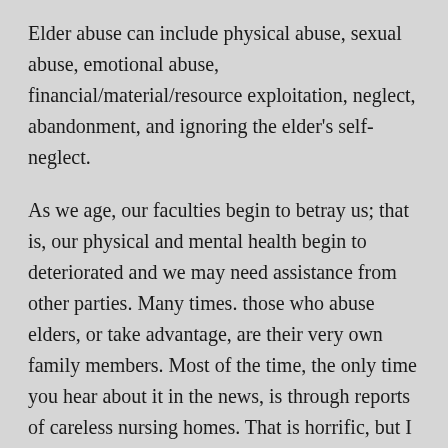Elder abuse can include physical abuse, sexual abuse, emotional abuse, financial/material/resource exploitation, neglect, abandonment, and ignoring the elder's self-neglect.
As we age, our faculties begin to betray us; that is, our physical and mental health begin to deteriorated and we may need assistance from other parties. Many times. those who abuse elders, or take advantage, are their very own family members. Most of the time, the only time you hear about it in the news, is through reports of careless nursing homes. That is horrific, but I cannot wrap my mind around family members doing this to their own kin! These people raised us, safely, to adulthood. Don't we owe them the courtesy of taking care of them in their twilight years????